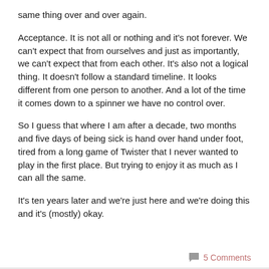same thing over and over again.
Acceptance. It is not all or nothing and it's not forever. We can't expect that from ourselves and just as importantly, we can't expect that from each other. It's also not a logical thing. It doesn't follow a standard timeline. It looks different from one person to another. And a lot of the time it comes down to a spinner we have no control over.
So I guess that where I am after a decade, two months and five days of being sick is hand over hand under foot, tired from a long game of Twister that I never wanted to play in the first place. But trying to enjoy it as much as I can all the same.
It's ten years later and we're just here and we're doing this and it's (mostly) okay.
5 Comments